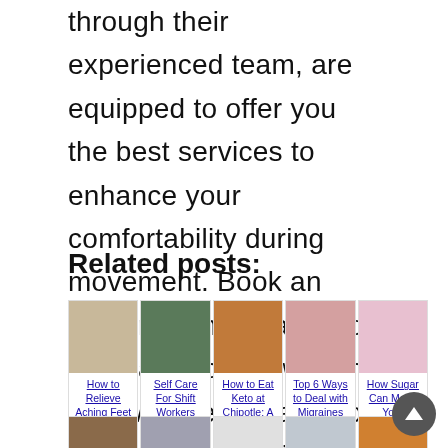through their experienced team, are equipped to offer you the best services to enhance your comfortability during movement. Book an appointment today if you have a problem with an ingrown toenail, and you won't be disappointed.
Related posts:
[Figure (photo): Photo of a dog being held]
How to Relieve Aching Feet
[Figure (photo): Hands photo for Self Care For Shift Workers]
Self Care For Shift Workers
[Figure (photo): Bowl of food for How to Eat Keto at Chipotle]
How to Eat Keto at Chipotle: A
[Figure (photo): Woman lying down for Top 6 Ways to Deal with Migraines]
Top 6 Ways to Deal with Migraines
[Figure (photo): Pink clouds for How Sugar Can Make Your]
How Sugar Can Make Your